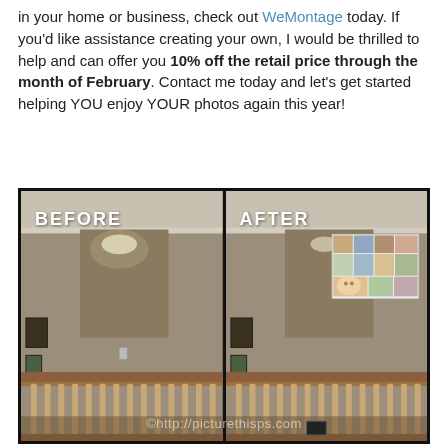in your home or business, check out WeMontage today. If you'd like assistance creating your own, I would be thrilled to help and can offer you 10% off the retail price through the month of February. Contact me today and let's get started helping YOU enjoy YOUR photos again this year!
[Figure (photo): Before and after comparison photo. Left side labeled 'BEFORE' shows an empty staircase landing with a bare beige wall. Right side labeled 'AFTER' shows the same wall with a large photo montage collage of children's portraits. Watermark at bottom reads ©http://picturethisps.com]